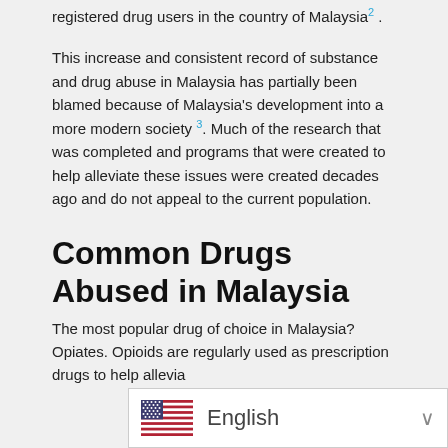registered drug users in the country of Malaysia 2 .
This increase and consistent record of substance and drug abuse in Malaysia has partially been blamed because of Malaysia's development into a more modern society 3 . Much of the research that was completed and programs that were created to help alleviate these issues were created decades ago and do not appeal to the current population.
Common Drugs Abused in Malaysia
The most popular drug of choice in Malaysia? Opiates. Opioids are regularly used as prescription drugs to help allevia...